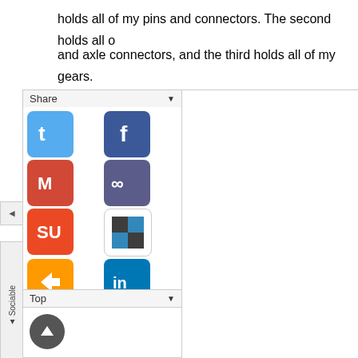holds all of my pins and connectors. The second holds all o
and axle connectors, and the third holds all of my gears.
[Figure (screenshot): Sociable share widget panel showing social media icons: Twitter, Facebook, Gmail, Infinite, StumbleUpon, Delicious, Kindle/Arrow, LinkedIn, Pinterest, Star/Favorites. Also shows Counters section and a Top scroll button with an up arrow icon.]
[Figure (screenshot): Loading spinner arc (partial circle in blue) indicating content loading]
Akro-Mills 10124-2 44 Drawer Storage
organizer can hold a healthy supply of small LEGO pa
nizer comes with partitions that can be inserted into the
ing one to keep more parts.Overall Size: W=20" H=15
es)